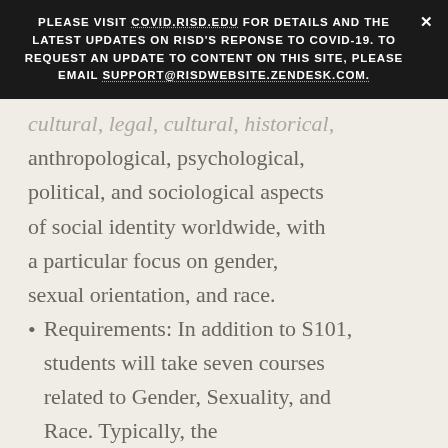PLEASE VISIT COVID.RISD.EDU FOR DETAILS AND THE LATEST UPDATES ON RISD'S REPONSE TO COVID-19. TO REQUEST AN UPDATE TO CONTENT ON THIS SITE, PLEASE EMAIL SUPPORT@RISDWEBSITE.ZENDESK.COM.
cultural, legal, cultural, historical, anthropological, psychological, political, and sociological aspects of social identity worldwide, with a particular focus on gender, sexual orientation, and race.
Requirements: In addition to S101, students will take seven courses related to Gender, Sexuality, and Race. Typically, the preponderance of these courses will be taken in HPSS, with